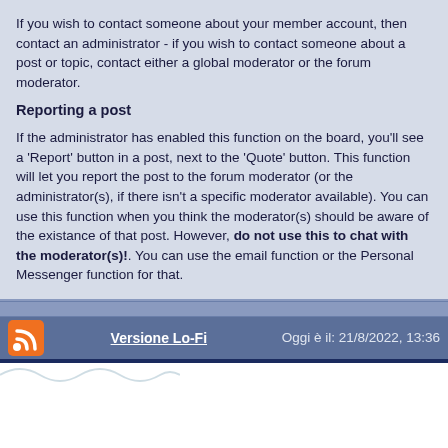If you wish to contact someone about your member account, then contact an administrator - if you wish to contact someone about a post or topic, contact either a global moderator or the forum moderator.
Reporting a post
If the administrator has enabled this function on the board, you'll see a 'Report' button in a post, next to the 'Quote' button. This function will let you report the post to the forum moderator (or the administrator(s), if there isn't a specific moderator available). You can use this function when you think the moderator(s) should be aware of the existance of that post. However, do not use this to chat with the moderator(s)!. You can use the email function or the Personal Messenger function for that.
Versione Lo-Fi   Oggi è il: 21/8/2022, 13:36